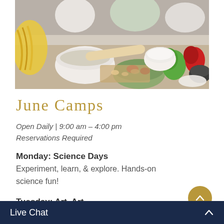[Figure (photo): People cooking together at a table with vegetables, bowls, and ingredients including pasta, peppers, salad, and bread.]
June Camps
Open Daily | 9:00 am – 4:00 pm
Reservations Required
Monday: Science Days
Experiment, learn, & explore. Hands-on science fun!
Tuesday: Art, Art,
Express yourself th